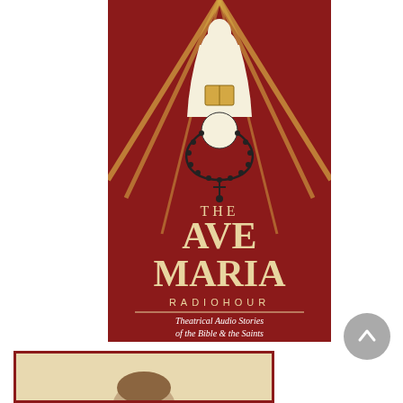[Figure (illustration): The Ave Maria Radiohour book/product cover. Dark crimson/maroon background with golden ray lines radiating from top. A robed religious figure (Virgin Mary) at the top holding a book, with a rosary and sacred heart below. Large cream/beige text reads 'THE AVE MARIA RADIOHOUR' with 'RADIOHOUR' in spaced letters. Below a horizontal line, white italic text reads 'Theatrical Audio Stories of the Bible & the Saints'.]
[Figure (illustration): Partial view of another product/book cover with a beige/parchment border, showing the top of a person's head (appears to be a historical or religious figure).]